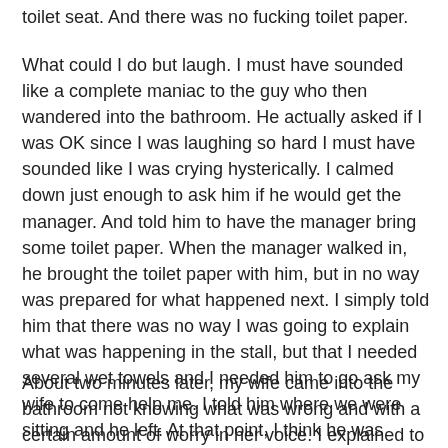toilet seat. And there was no fucking toilet paper.
What could I do but laugh. I must have sounded like a complete maniac to the guy who then wandered into the bathroom. He actually asked if I was OK since I was laughing so hard I must have sounded like I was crying hysterically. I calmed down just enough to ask him if he would get the manager. And told him to have the manager bring some toilet paper. When the manager walked in, he brought the toilet paper with him, but in no way was prepared for what happened next. I simply told him that there was no way I was going to explain what was happening in the stall, but that I needed several wet towels and I needed him to go ask my wife to come help me. I told him where we were sitting and he left. At that point, I think he was probably assuming that I had pissed just a bit in my pants or something similarly benign.
About two minutes later, my wife came into the bathroom not knowing what was wrong and with a certain amount of worry in her voice. I explained to her (still laughing and having trouble getting out words) that I had a slight accident and